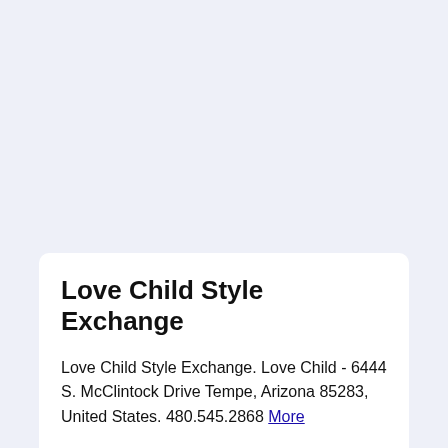Love Child Style Exchange
Love Child Style Exchange. Love Child - 6444 S. McClintock Drive Tempe, Arizona 85283, United States. 480.545.2868 More